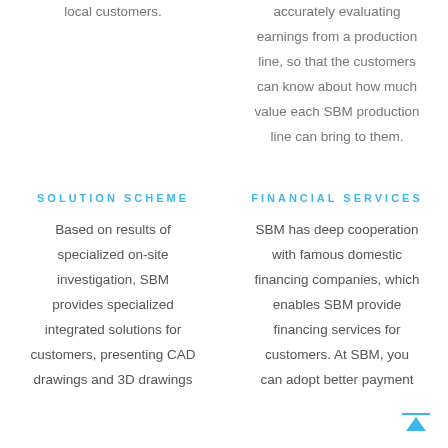accurately evaluating earnings from a production line, so that the customers can know about how much value each SBM production line can bring to them.
SOLUTION SCHEME
FINANCIAL SERVICES
Based on results of specialized on-site investigation, SBM provides specialized integrated solutions for customers, presenting CAD drawings and 3D drawings
SBM has deep cooperation with famous domestic financing companies, which enables SBM provide financing services for customers. At SBM, you can adopt better payment